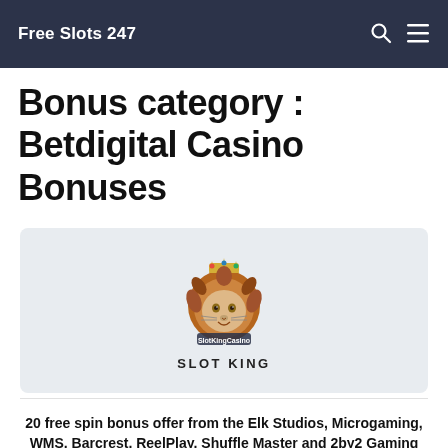Free Slots 247
Bonus category : Betdigital Casino Bonuses
[Figure (logo): Slot King Casino logo — a lion with a crown, text 'SlotKingCasino' and label 'SLOT KING']
20 free spin bonus offer from the Elk Studios, Microgaming, WMS, Barcrest, ReelPlay, Shuffle Master and 2by2 Gaming Slot King Online Casino and a $100 casino match.